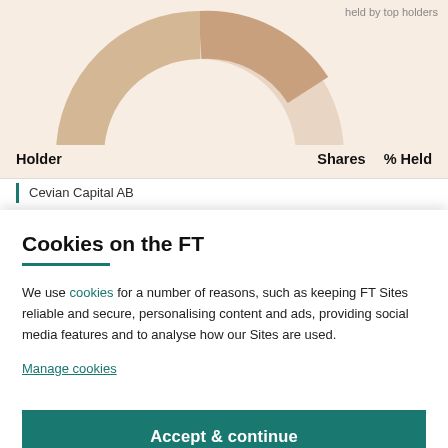[Figure (donut-chart): Partial view of a donut/pie chart showing share percentage held by top holders, on a cream/beige background. Only the top portion of the chart is visible.]
held by top holders
| Holder | Shares | % Held |
| --- | --- | --- |
| Cevian Capital AB |  |  |
Cookies on the FT
We use cookies for a number of reasons, such as keeping FT Sites reliable and secure, personalising content and ads, providing social media features and to analyse how our Sites are used.
Manage cookies
Accept & continue